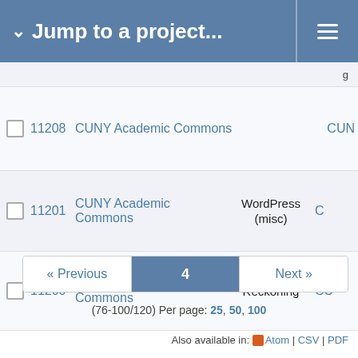Jump to a project...
|  | # | Project | Tracker | Assignee |
| --- | --- | --- | --- | --- |
| ☐ | 11208 | CUNY Academic Commons |  | CUN... |
| ☐ | 11201 | CUNY Academic Commons | WordPress (misc) | C... |
| ☐ | 11200 | CUNY Academic Commons | Reckoning | CU... |
« Previous  4  Next »
(76-100/120) Per page: 25, 50, 100
Also available in: Atom | CSV | PDF